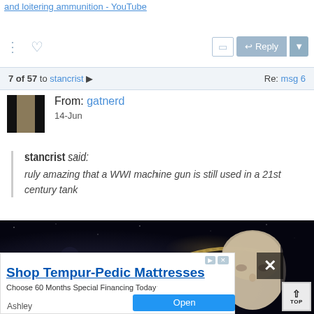and loitering ammunition - YouTube
7 of 57 to stancrist  Re: msg 6
From: gatnerd
14-Jun
stancrist said:
ruly amazing that a WWI machine gun is still used in a 21st century tank
[Figure (photo): Dark action movie or game promotional image showing a figure with a large machine gun and ammunition belt, with a bald man's face on the right side against a dark background]
Shop Tempur-Pedic Mattresses
Choose 60 Months Special Financing Today
Ashley
Open